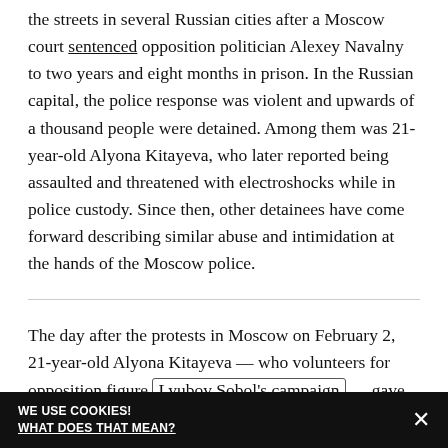the streets in several Russian cities after a Moscow court sentenced opposition politician Alexey Navalny to two years and eight months in prison. In the Russian capital, the police response was violent and upwards of a thousand people were detained. Among them was 21-year-old Alyona Kitayeva, who later reported being assaulted and threatened with electroshocks while in police custody. Since then, other detainees have come forward describing similar abuse and intimidation at the hands of the Moscow police.
The day after the protests in Moscow on February 2, 21-year-old Alyona Kitayeva — who volunteers for opposition figure Lyubov Sobol's campaign — gave interviews to The Insider, MBX Media, and Novaya Gazeta, describing how she had been assaulted while in
WE USE COOKIES! WHAT DOES THAT MEAN?